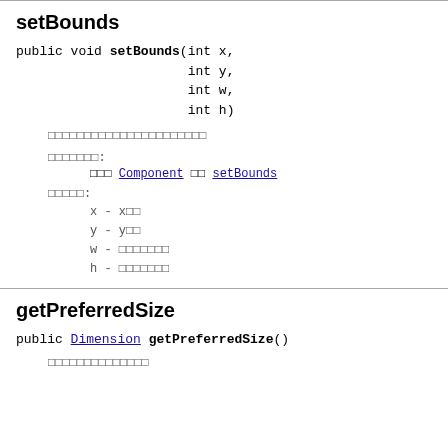setBounds
public void setBounds(int x,
                      int y,
                      int w,
                      int h)
[Japanese description of setBounds method]
オーバーライド:
クラス Component の setBounds
パラメータ:
x - x座標
y - y座標
w - コンポーネント幅
h - コンポーネント高さ
getPreferredSize
public Dimension getPreferredSize()
[Japanese description of getPreferredSize]